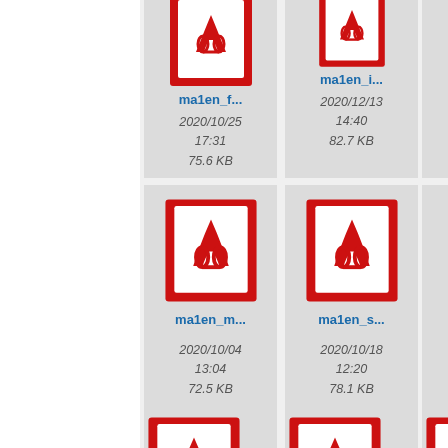[Figure (screenshot): File browser showing PDF file icons in a grid layout. Each card shows a PDF icon (red border with Adobe Acrobat logo), a truncated filename in blue, and file metadata including date/time and file size.]
ma1en_f...
2020/10/25 17:31
75.6 KB
ma1en_i...
2020/12/13 14:40
82.7 KB
ma1en_m...
2020/10/04 13:04
72.5 KB
ma1en_s...
2020/10/18 12:20
78.1 KB